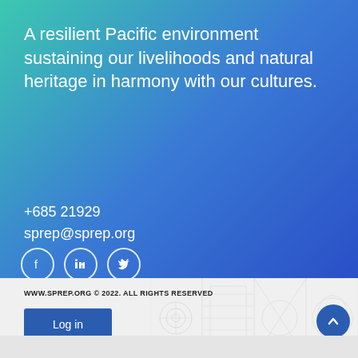A resilient Pacific environment sustaining our livelihoods and natural heritage in harmony with our cultures.
+685 21929
sprep@sprep.org
[Figure (other): Social media icons: Facebook, LinkedIn, Twitter in circular outlines]
WWW.SPREP.ORG © 2022. ALL RIGHTS RESERVED
Log in